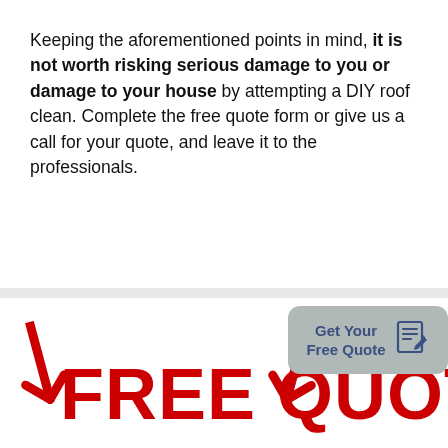Keeping the aforementioned points in mind, it is not worth risking serious damage to you or damage to your house by attempting a DIY roof clean. Complete the free quote form or give us a call for your quote, and leave it to the professionals.
[Figure (infographic): Red bold text reading FREE QUOTE with red downward arrows on left and right sides, and a grey rounded button overlay on the right reading Get Your Free Quote with a notepad/pencil icon]